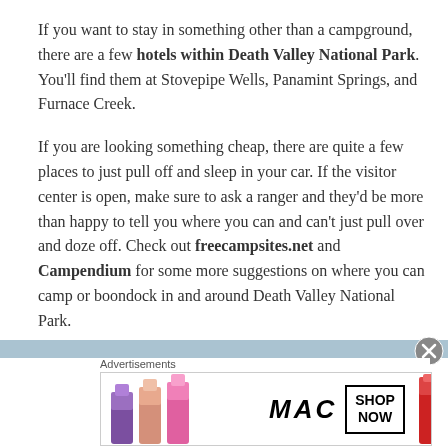If you want to stay in something other than a campground, there are a few hotels within Death Valley National Park. You'll find them at Stovepipe Wells, Panamint Springs, and Furnace Creek.
If you are looking something cheap, there are quite a few places to just pull off and sleep in your car. If the visitor center is open, make sure to ask a ranger and they'd be more than happy to tell you where you can and can't just pull over and doze off. Check out freecampsites.net and Campendium for some more suggestions on where you can camp or boondock in and around Death Valley National Park.
[Figure (other): Advertisement banner: MAC cosmetics ad showing colorful lipsticks (purple, pink, red) with MAC logo and SHOP NOW button]